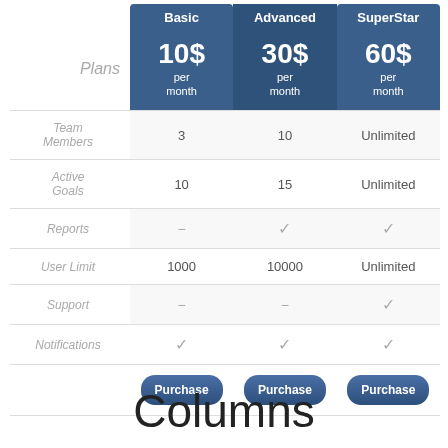|  | Basic | Advanced | SuperStar |
| --- | --- | --- | --- |
| Plans | 10$ per month | 30$ per month | 60$ per month |
| Team Members | 3 | 10 | Unlimited |
| Active Goals | 10 | 15 | Unlimited |
| Reports | − | ✓ | ✓ |
| User Limit | 1000 | 10000 | Unlimited |
| Support | − | − | ✓ |
| Notifications | ✓ | ✓ | ✓ |
Purchase | Purchase | Purchase
Columns